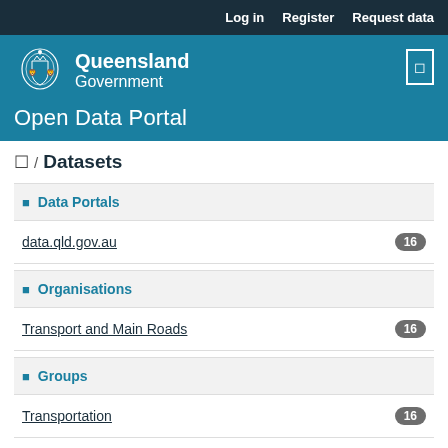Log in  Register  Request data
Queensland Government Open Data Portal
🏠 / Datasets
Data Portals
data.qld.gov.au  16
Organisations
Transport and Main Roads  16
Groups
Transportation  16